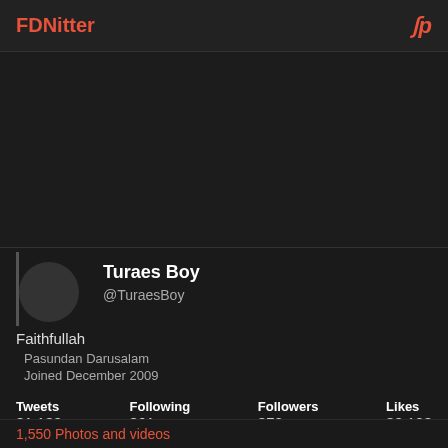FDNitter
[Figure (screenshot): Dark banner/header image area for Twitter profile]
Turaes Boy
@TuraesBoy
Faithfullah
Pasundan Darusalam
Joined December 2009
| Tweets | Following | Followers | Likes |
| --- | --- | --- | --- |
| 31,132 | 361 | 372 | 32,128 |
1,550 Photos and videos